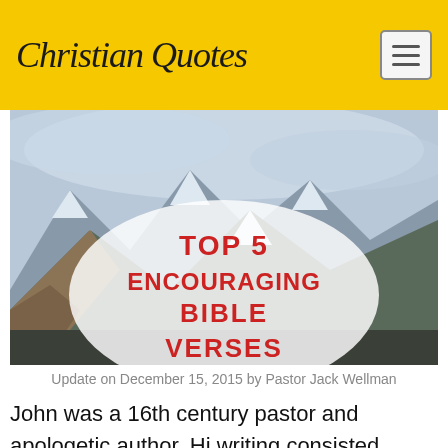Christian Quotes
[Figure (photo): Mountain landscape with snow-capped peaks under a cloudy sky. Overlaid with a white semi-transparent oval containing bold red text: 'Top 5 Encouraging Bible Verses']
Update on December 15, 2015 by Pastor Jack Wellman
John was a 16th century pastor and apologetic author. Hi writing consisted mostly of great commentaries of almost all the books of the Bible, which started with Romans and ended with Exodus and Deuteronomy 23 years later. John was a big believer in a